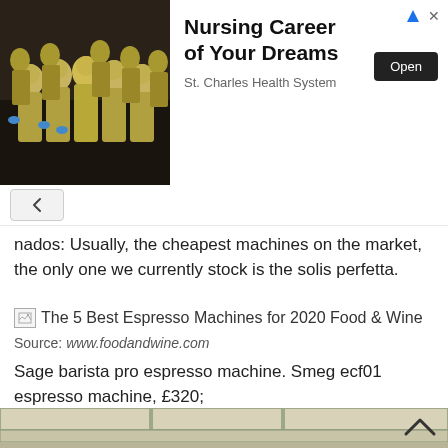[Figure (photo): Advertisement banner showing nurses in PPE gowns and masks, with text 'Nursing Career of Your Dreams' and 'St. Charles Health System', with an Open button]
nados: Usually, the cheapest machines on the market, the only one we currently stock is the solis perfetta.
[Figure (photo): Broken image icon followed by text: The 5 Best Espresso Machines for 2020 Food & Wine]
Source: www.foodandwine.com
Sage barista pro espresso machine. Smeg ecf01 espresso machine, £320;
[Figure (photo): Kitchen photo showing cabinets with sage green/cream trim, white tile backsplash, and what appears to be a glass bowl or espresso machine component at the bottom. A scroll-up chevron arrow is visible in the lower right.]